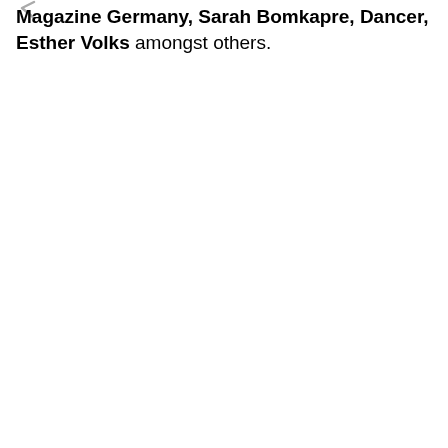Magazine Germany, Sarah Bomkapre, Dancer, Esther Volks amongst others.